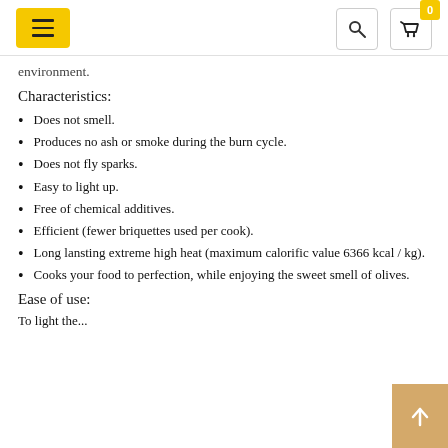Navigation bar with hamburger menu, search icon, and cart icon with badge 0
environment.
Characteristics:
Does not smell.
Produces no ash or smoke during the burn cycle.
Does not fly sparks.
Easy to light up.
Free of chemical additives.
Efficient (fewer briquettes used per cook).
Long lansting extreme high heat (maximum calorific value 6366 kcal / kg).
Cooks your food to perfection, while enjoying the sweet smell of olives.
Ease of use:
To light the...